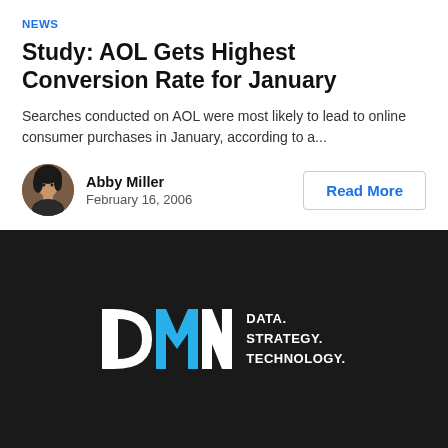NEWS
Study: AOL Gets Highest Conversion Rate for January
Searches conducted on AOL were most likely to lead to online consumer purchases in January, according to a...
Abby Miller
February 16, 2006
Read More
[Figure (logo): DMN (Data. Strategy. Technology.) logo on dark background]